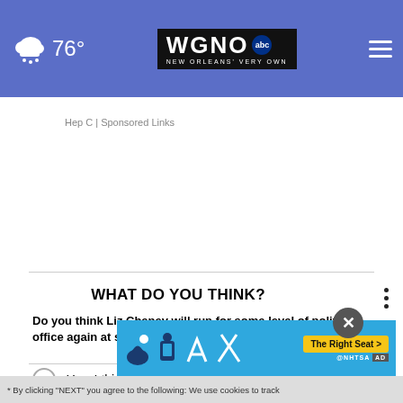76° WGNO NEW ORLEANS' VERY OWN
Hep C | Sponsored Links
WHAT DO YOU THINK?
Do you think Liz Cheney will run for some level of political office again at some point in the future?
Yes, I think so
Maybe, I'm not sure
No, I don't think so
Other / No opinion
[Figure (infographic): NHTSA The Right Seat advertisement banner with child seat safety icons]
* By clicking "NEXT" you agree to the following: We use cookies to track